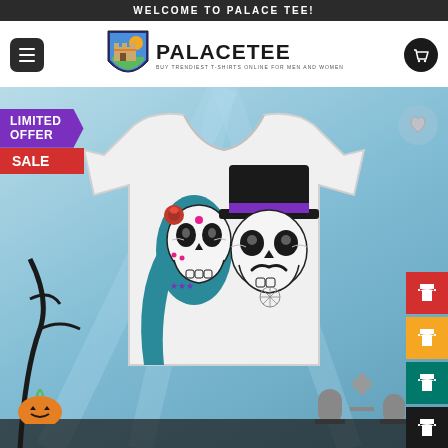WELCOME TO PALACE TEE!
[Figure (logo): PalaceTee logo with shield icon and tagline: BUY TRENDIEST T-SHIRTS ONLINE FOR MEN AND WOMEN]
[Figure (photo): Product page showing a white t-shirt with Day of the Dead skull couple design (female skull with teal hair and rose, male skull with top hat and mustache) on a Halloween-themed background. LIMITED OFFER SALE badge at top left. Color swatch buttons on right side (red, orange, teal, black). Heart/wishlist button at top right.]